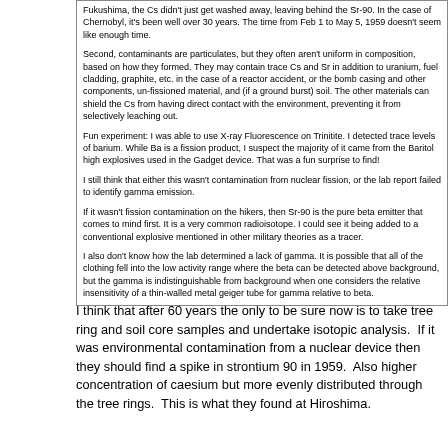Fukushima, the Cs didn't just get washed away, leaving behind the Sr-90. In the case of Chernobyl, it's been well over 30 years. The time from Feb 1 to May 5, 1959 doesn't seem like enough time.

Second, contaminants are particulates, but they often aren't uniform in composition, based on how they formed. They may contain trace Cs and Sr in addition to uranium, fuel cladding, graphite, etc. in the case of a reactor accident, or the bomb casing and other components, un-fissioned material, and (if a ground burst) soil. The other materials can shield the Cs from having direct contact with the environment, preventing it from selectively leaching out.

Fun experiment: I was able to use X-ray Fluorescence on Trinitite. I detected trace levels of barium. While Ba is a fission product, I suspect the majority of it came from the Baritol high explosives used in the Gadget device. That was a fun surprise to find!

I still think that either this wasn't contamination from nuclear fission, or the lab report failed to identify gamma emission.

If it wasn't fission contamination on the hikers, then Sr-90 is the pure beta emitter that comes to mind first. It is a very common radioisotope. I could see it being added to a conventional explosive mentioned in other military theories as a tracer.

I also don't know how the lab determined a lack of gamma. It is possible that all of the clothing fell into the low activity range where the beta can be detected above background, but the gamma is indistinguishable from background when one considers the relative insensitivity of a thin-walled metal geiger tube for gamma relative to beta.
I think that after 60 years the only to be sure now is to take tree ring and soil core samples and undertake isotopic analysis.  If it was environmental contamination from a nuclear device then they should find a spike in strontium 90 in 1959.  Also higher concentration of caesium but more evenly distributed through the tree rings.  This is what they found at Hiroshima.